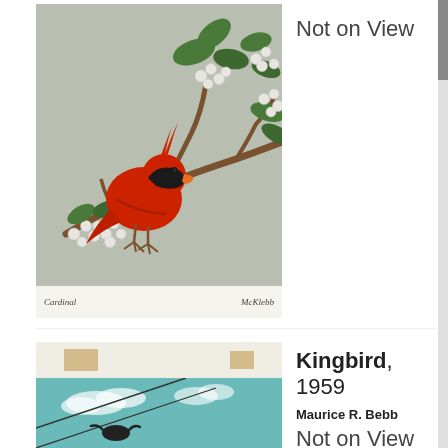[Figure (illustration): Illustration of a red cardinal bird perched on a flowering branch with white blossoms and green leaves, on a gray-green background. Handwritten signatures at bottom left and right.]
Not on View
[Figure (photo): Partial photo of a kingbird artwork showing tape/corners at top and a teal sky with clouds and diagonal lines below.]
Kingbird, 1959
Maurice R. Bebb
Not on View